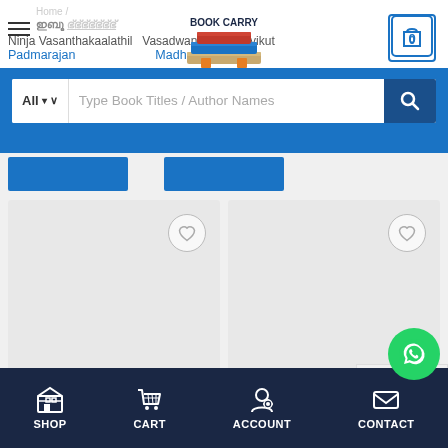[Figure (screenshot): Book Carry online bookstore website screenshot showing header with logo, search bar, product cards with wishlist buttons, and bottom navigation bar with Shop, Cart, Account, Contact tabs]
Ninja Vasanthakaalathil — Padmarajan | Vasadwani – Madhavikutty | Padmarajan | Madhavikutty
Type Book Titles / Author Names
SHOP   CART   ACCOUNT   CONTACT